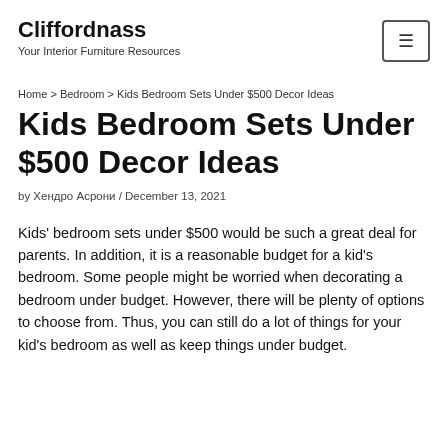Cliffordnass
Your Interior Furniture Resources
Home > Bedroom > Kids Bedroom Sets Under $500 Decor Ideas
Kids Bedroom Sets Under $500 Decor Ideas
by Хендро Асрони / December 13, 2021
Kids' bedroom sets under $500 would be such a great deal for parents. In addition, it is a reasonable budget for a kid's bedroom. Some people might be worried when decorating a bedroom under budget. However, there will be plenty of options to choose from. Thus, you can still do a lot of things for your kid's bedroom as well as keep things under budget.